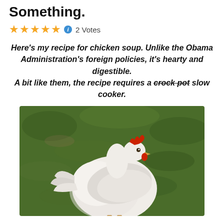Something.
★★★★★ ℹ 2 Votes
Here's my recipe for chicken soup. Unlike the Obama Administration's foreign policies, it's hearty and digestible.
A bit like them, the recipe requires a crock pot slow cooker.
[Figure (photo): A white rooster/chicken standing on green grass, photographed from the side, with a red comb on its head.]